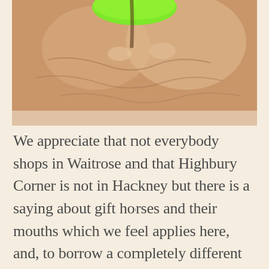[Figure (photo): Close-up photograph of a hand holding a small green object (likely a green token or button), showing fingers and skin detail in soft focus.]
We appreciate that not everybody shops in Waitrose and that Highbury Corner is not in Hackney but there is a saying about gift horses and their mouths which we feel applies here, and, to borrow a completely different supermarket's catchphrase, every little helps. Through Community Matters we will get a cut of £500 which will mean a more secure future for Free Cakes for Kids Hackney and a heck of a lot more